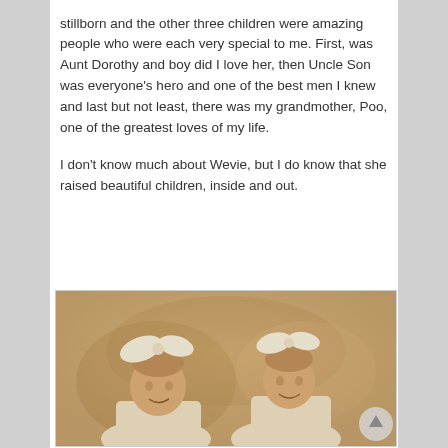stillborn and the other three children were amazing people who were each very special to me. First, was Aunt Dorothy and boy did I love her, then Uncle Son was everyone's hero and one of the best men I knew and last but not least, there was my grandmother, Poo, one of the greatest loves of my life.
I don't know much about Wevie, but I do know that she raised beautiful children, inside and out.
[Figure (photo): Vintage sepia-toned photograph of two young girls with large white bow hair accessories, wearing white dresses, posed in a studio setting with a painted backdrop.]